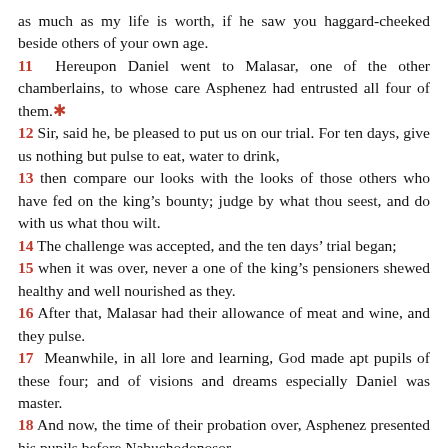as much as my life is worth, if he saw you haggard-cheeked beside others of your own age.
11 Hereupon Daniel went to Malasar, one of the other chamberlains, to whose care Asphenez had entrusted all four of them.*
12 Sir, said he, be pleased to put us on our trial. For ten days, give us nothing but pulse to eat, water to drink,
13 then compare our looks with the looks of those others who have fed on the king’s bounty; judge by what thou seest, and do with us what thou wilt.
14 The challenge was accepted, and the ten days’ trial began;
15 when it was over, never a one of the king’s pensioners shewed healthy and well nourished as they.
16 After that, Malasar had their allowance of meat and wine, and they pulse.
17 Meanwhile, in all lore and learning, God made apt pupils of these four; and of visions and dreams especially Daniel was master.
18 And now, the time of their probation over, Asphenez presented his pupils before Nabuchodonosor,
19 who had speech with all of them; and no match was found for Daniel, Ananias, Misael and Azarias; all must have places at court.